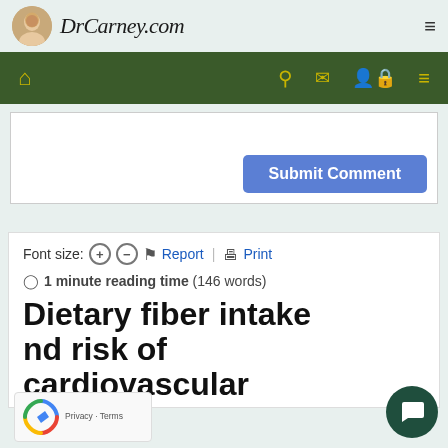DrCarney.com
[Figure (screenshot): Navigation bar with dark green background, home icon in yellow, and search, mail, user, and menu icons in yellow on the right]
[Figure (screenshot): Submit Comment button (blue) inside a white comment box area]
Font size: + - Report | Print
1 minute reading time (146 words)
Dietary fiber intake nd risk of cardiovascular